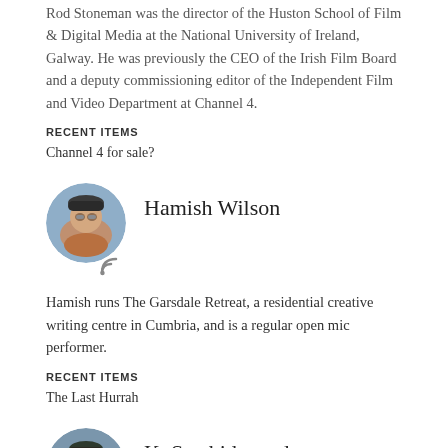Rod Stoneman was the director of the Huston School of Film & Digital Media at the National University of Ireland, Galway. He was previously the CEO of the Irish Film Board and a deputy commissioning editor of the Independent Film and Video Department at Channel 4.
RECENT ITEMS
Channel 4 for sale?
[Figure (photo): Circular avatar photo of Hamish Wilson, a man wearing a dark cap and glasses, outdoors.]
Hamish Wilson
Hamish runs The Garsdale Retreat, a residential creative writing centre in Cumbria, and is a regular open mic performer.
RECENT ITEMS
The Last Hurrah
[Figure (photo): Circular avatar photo of K. Satchidanandan, a man wearing a dark cap, partially visible at the bottom of the page.]
K. Satchidanandan